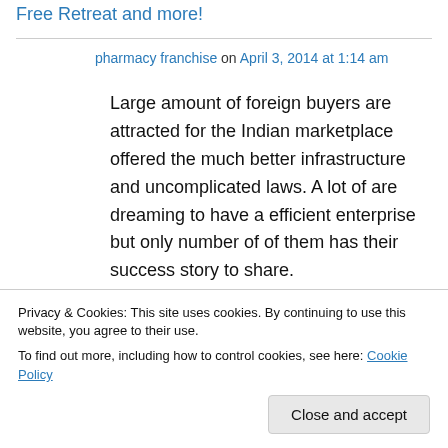Free Retreat and more!
pharmacy franchise on April 3, 2014 at 1:14 am
Large amount of foreign buyers are attracted for the Indian marketplace offered the much better infrastructure and uncomplicated laws. A lot of are dreaming to have a efficient enterprise but only number of of them has their success story to share.
Privacy & Cookies: This site uses cookies. By continuing to use this website, you agree to their use.
To find out more, including how to control cookies, see here: Cookie Policy